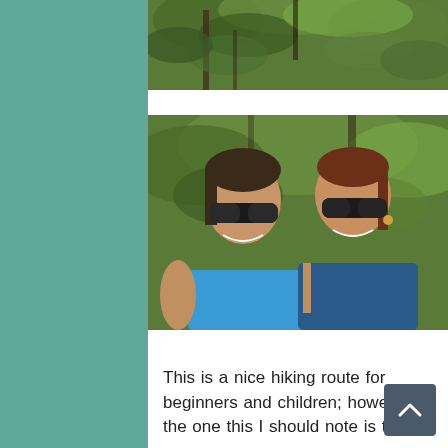[Figure (photo): Top portion of a nature/trail photo showing green trees and foliage, partially cropped at top of page]
[Figure (photo): Selfie photo of two women wearing sunglasses and blue athletic tank tops, smiling outdoors on a hiking trail surrounded by green trees]
This is a nice hiking route for beginners and children; however the one this I should note is the